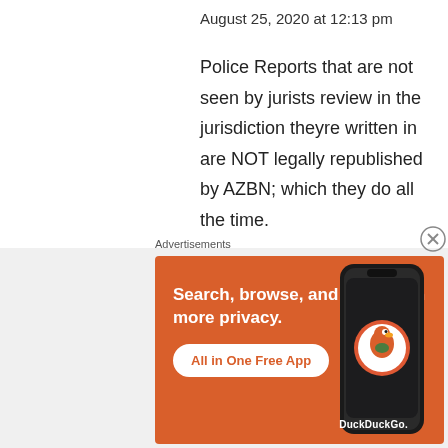August 25, 2020 at 12:13 pm
Police Reports that are not seen by jurists review in the jurisdiction theyre written in are NOT legally republished by AZBN; which they do all the time.
CALIFORNIA NURSES ASSOC says:
August 15, 2020 at 4:25 pm
[Figure (screenshot): DuckDuckGo advertisement banner with orange background showing phone mockup, text 'Search, browse, and email with more privacy. All in One Free App', and DuckDuckGo logo]
Advertisements